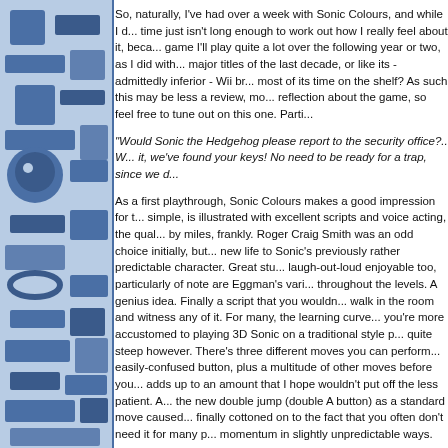[Figure (illustration): Blue decorative sidebar with Sonic-themed silhouettes and geometric shapes in shades of blue]
So, naturally, I've had over a week with Sonic Colours, and while I d... time just isn't long enough to work out how I really feel about it, beca... game I'll play quite a lot over the following year or two, as I did with... major titles of the last decade, or like its - admittedly inferior - Wii br... most of its time on the shelf? As such this may be less a review, mo... reflection about the game, so feel free to tune out on this one. Parti...
"Would Sonic the Hedgehog please report to the security office?.. W... it, we've found your keys! No need to be ready for a trap, since we d...
As a first playthrough, Sonic Colours makes a good impression for t... simple, is illustrated with excellent scripts and voice acting, the qual... by miles, frankly. Roger Craig Smith was an odd choice initially, but... new life to Sonic's previously rather predictable character. Great stu... laugh-out-loud enjoyable too, particularly of note are Eggman's vari... throughout the levels. A genius idea. Finally a script that you wouldn... walk in the room and witness any of it. For many, the learning curve... you're more accustomed to playing 3D Sonic on a traditional style p... quite steep however. There's three different moves you can perform... easily-confused button, plus a multitude of other moves before you... adds up to an amount that I hope wouldn't put off the less patient. A... the new double jump (double A button) as a standard move caused... finally cottoned on to the fact that you often don't need it for many p... momentum in slightly unpredictable ways.
For the most part, this game follows the lead of the daytime levels o... (which, of course, I love), with a slightly stronger slant to the 2D asp... leads to a slightly more refined experience that places a limit on tho... God, it's done what Wii Sonic games sadly hadn't done previously a... annoying collect-y rings, defeat-y enemies, or don't-break-a-stri...